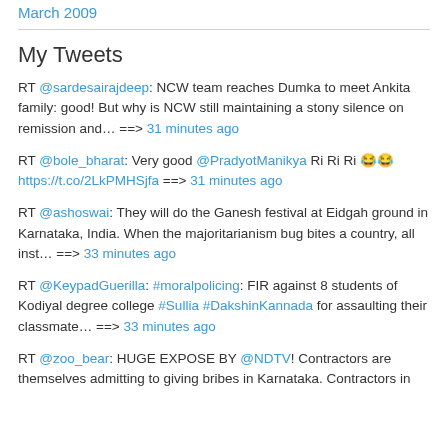March 2009
My Tweets
RT @sardesairajdeep: NCW team reaches Dumka to meet Ankita family: good! But why is NCW still maintaining a stony silence on remission and… ==> 31 minutes ago
RT @bole_bharat: Very good @PradyotManikya Ri Ri Ri 😂😂 https://t.co/2LkPMHSjfa ==> 31 minutes ago
RT @ashoswai: They will do the Ganesh festival at Eidgah ground in Karnataka, India. When the majoritarianism bug bites a country, all inst… ==> 33 minutes ago
RT @KeypadGuerilla: #moralpolicing: FIR against 8 students of Kodiyal degree college #Sullia #DakshinKannada for assaulting their classmate… ==> 33 minutes ago
RT @zoo_bear: HUGE EXPOSE BY @NDTV! Contractors are themselves admitting to giving bribes in Karnataka. Contractors in